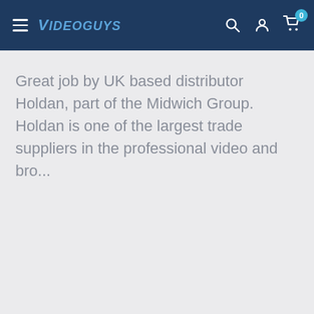Videoguys
Great job by UK based distributor Holdan, part of the Midwich Group. Holdan is one of the largest trade suppliers in the professional video and bro...